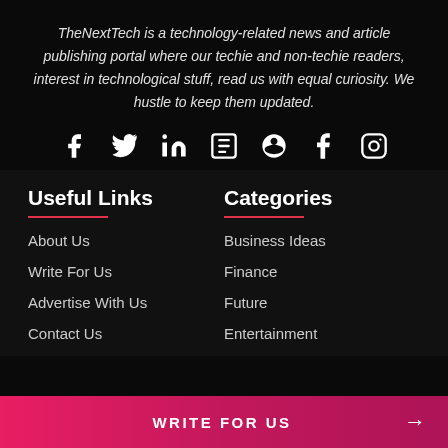TheNextTech is a technology-related news and article publishing portal where our techie and non-techie readers, interest in technological stuff, read us with equal curiosity. We hustle to keep them updated.
[Figure (infographic): Social media icons row: Facebook, Twitter, LinkedIn, Flipboard, Pinterest, Tumblr, Instagram]
Useful Links
About Us
Write For Us
Advertise With Us
Contact Us
Categories
Business Ideas
Finance
Future
Entertainment
WRITE FOR US →